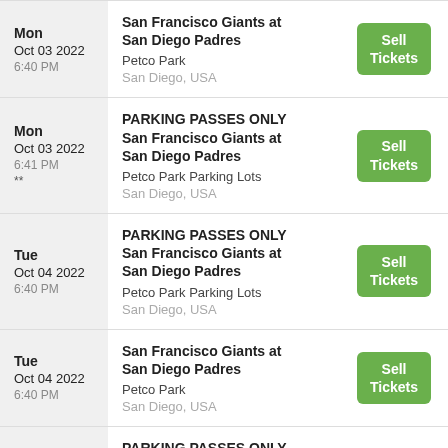Mon Oct 03 2022 6:40 PM | San Francisco Giants at San Diego Padres | Petco Park | San Diego, USA | Sell Tickets
Mon Oct 03 2022 6:41 PM ** | PARKING PASSES ONLY San Francisco Giants at San Diego Padres | Petco Park Parking Lots | San Diego, USA | Sell Tickets
Tue Oct 04 2022 6:40 PM | PARKING PASSES ONLY San Francisco Giants at San Diego Padres | Petco Park Parking Lots | San Diego, USA | Sell Tickets
Tue Oct 04 2022 6:40 PM | San Francisco Giants at San Diego Padres | Petco Park | San Diego, USA | Sell Tickets
PARKING PASSES ONLY (partial, cut off)